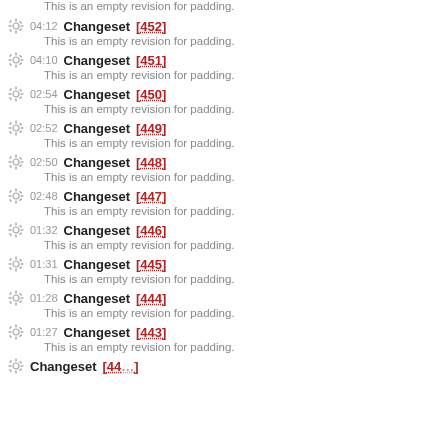This is an empty revision for padding.
04:12 Changeset [452]
This is an empty revision for padding.
04:10 Changeset [451]
This is an empty revision for padding.
02:54 Changeset [450]
This is an empty revision for padding.
02:52 Changeset [449]
This is an empty revision for padding.
02:50 Changeset [448]
This is an empty revision for padding.
02:48 Changeset [447]
This is an empty revision for padding.
01:32 Changeset [446]
This is an empty revision for padding.
01:31 Changeset [445]
This is an empty revision for padding.
01:28 Changeset [444]
This is an empty revision for padding.
01:27 Changeset [443]
This is an empty revision for padding.